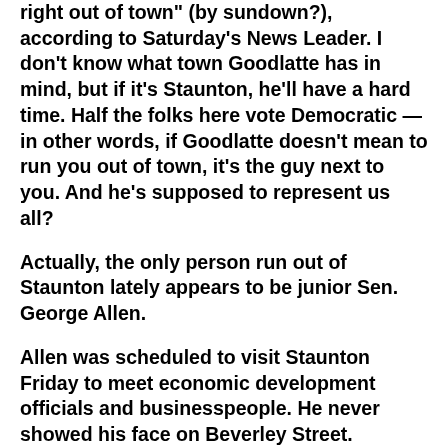right out of town" (by sundown?), according to Saturday's News Leader. I don't know what town Goodlatte has in mind, but if it's Staunton, he'll have a hard time. Half the folks here vote Democratic — in other words, if Goodlatte doesn't mean to run you out of town, it's the guy next to you. And he's supposed to represent us all?
Actually, the only person run out of Staunton lately appears to be junior Sen. George Allen.
Allen was scheduled to visit Staunton Friday to meet economic development officials and businesspeople. He never showed his face on Beverley Street.
His spokesman said, "There wasn't anyone specific he was meeting." Tell that to Staunton's mayor, city officials and business leaders who were standing on the steps of City Hall. Tell that to merchants who had been told he would visit their stores.
Readers can safely blow off the spin from the Allen party